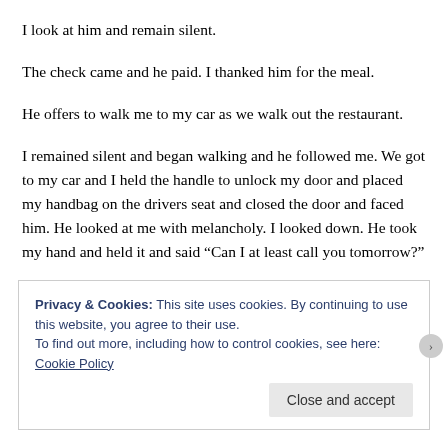I look at him and remain silent.
The check came and he paid. I thanked him for the meal.
He offers to walk me to my car as we walk out the restaurant.
I remained silent and began walking and he followed me. We got to my car and I held the handle to unlock my door and placed my handbag on the drivers seat and closed the door and faced him. He looked at me with melancholy. I looked down. He took my hand and held it and said “Can I at least call you tomorrow?”
I replied, “ok.”
He smiled.
Privacy & Cookies: This site uses cookies. By continuing to use this website, you agree to their use.
To find out more, including how to control cookies, see here: Cookie Policy
Close and accept